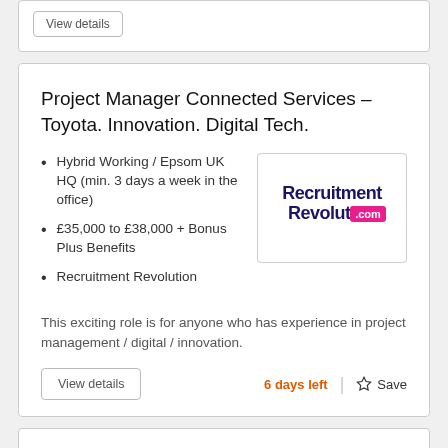Project Manager Connected Services – Toyota. Innovation. Digital Tech.
Hybrid Working / Epsom UK HQ (min. 3 days a week in the office)
£35,000 to £38,000 + Bonus Plus Benefits
Recruitment Revolution
[Figure (logo): Recruitment Revolution .com logo in dark navy and magenta]
This exciting role is for anyone who has experience in project management / digital / innovation.
View details
6 days left
Save